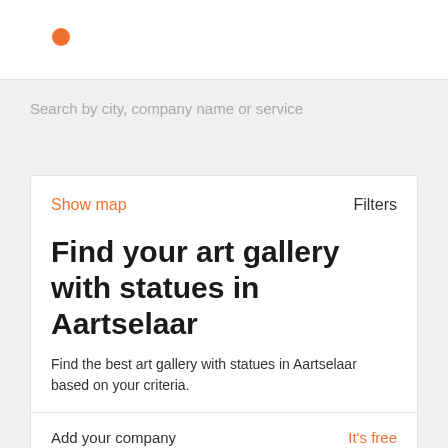[Figure (logo): Orange dot logo in top navigation bar]
Search by city, company name or service
Show map
Filters
Find your art gallery with statues in Aartselaar
Find the best art gallery with statues in Aartselaar based on your criteria.
Add your company
It's free